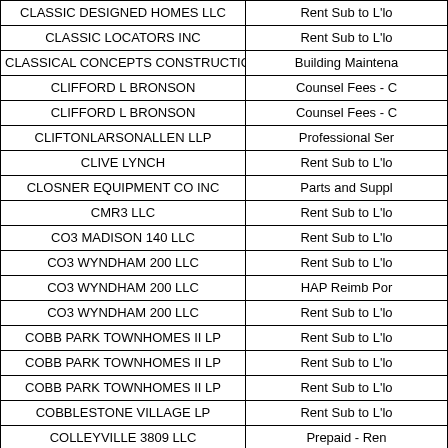| Vendor Name | Description |
| --- | --- |
| CLASSIC DESIGNED HOMES LLC | Rent Sub to L'lo |
| CLASSIC LOCATORS INC | Rent Sub to L'lo |
| CLASSICAL CONCEPTS CONSTRUCTION LLC | Building Maintena |
| CLIFFORD L BRONSON | Counsel Fees - C |
| CLIFFORD L BRONSON | Counsel Fees - C |
| CLIFTONLARSONALLEN LLP | Professional Ser |
| CLIVE LYNCH | Rent Sub to L'lo |
| CLOSNER EQUIPMENT CO INC | Parts and Suppl |
| CMR3 LLC | Rent Sub to L'lo |
| CO3 MADISON 140 LLC | Rent Sub to L'lo |
| CO3 WYNDHAM 200 LLC | Rent Sub to L'lo |
| CO3 WYNDHAM 200 LLC | HAP Reimb Por |
| CO3 WYNDHAM 200 LLC | Rent Sub to L'lo |
| COBB PARK TOWNHOMES II LP | Rent Sub to L'lo |
| COBB PARK TOWNHOMES II LP | Rent Sub to L'lo |
| COBB PARK TOWNHOMES II LP | Rent Sub to L'lo |
| COBBLESTONE VILLAGE LP | Rent Sub to L'lo |
| COLLEYVILLE 3809 LLC | Prepaid - Ren |
| COLLEYVILLE AREA CHAMBER OF | Meeting Expens |
| COLUMBIA RENAISSANCE SQUARE I LP | HAP Reimb Por |
| COLUMBUS MONROE SOLOMON III | Counsel Fees - C |
| COMMERCIAL RECORDER | Advertis/Leg No |
| COMMERCIAL RECORDER | Advertising/Publi |
| COMMERCIAL RECORDER | Advertising / Le |